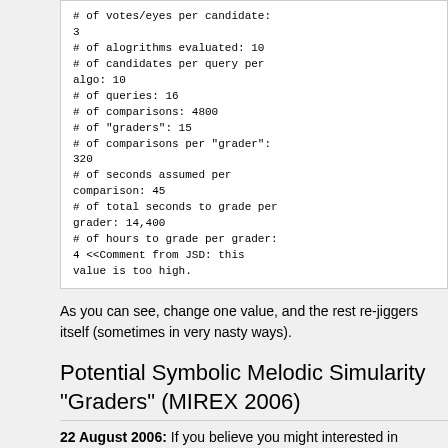# of votes/eyes per candidate: 3
# of alogrithms evaluated: 10
# of candidates per query per algo: 10
# of queries: 16
# of comparisons: 4800
# of "graders": 15
# of comparisons per "grader": 320
# of seconds assumed per comparison: 45
# of total seconds to grade per grader: 14,400
# of hours to grade per grader: 4 <<Comment from JSD: this value is too high.
As you can see, change one value, and the rest re-jiggers itself (sometimes in very nasty ways).
Potential Symbolic Melodic Simularity "Graders" (MIREX 2006)
22 August 2006: If you believe you might interested in participating in the evaluation